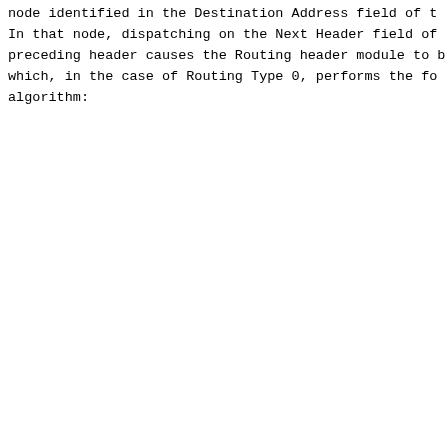node identified in the Destination Address field of t... In that node, dispatching on the Next Header field of preceding header causes the Routing header module to b... which, in the case of Routing Type 0, performs the fo... algorithm: